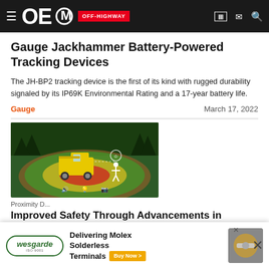OEM OFF-HIGHWAY
Gauge Jackhammer Battery-Powered Tracking Devices
The JH-BP2 tracking device is the first of its kind with rugged durability signaled by its IP69K Environmental Rating and a 17-year battery life.
Gauge   March 17, 2022
[Figure (illustration): Illustration of a yellow dump truck on a dirt road surrounded by proximity detection zones rendered as concentric circles in green, yellow, and red. Icons near the truck indicate audio, visual and camera alerts. A human figure stands nearby.]
Proximity D...
Improved Safety Through Advancements in
[Figure (advertisement): Wesgarde advertisement for Molex Solderless Terminals with yellow Buy Now button and image of a connector component.]